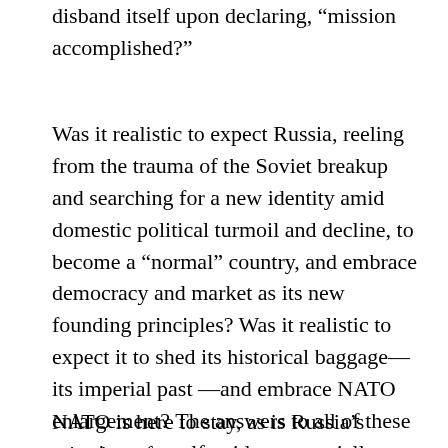disband itself upon declaring, “mission accomplished?”
Was it realistic to expect Russia, reeling from the trauma of the Soviet breakup and searching for a new identity amid domestic political turmoil and decline, to become a “normal” country, and embrace democracy and market as its new founding principles? Was it realistic to expect it to shed its historical baggage—its imperial past —and embrace NATO enlargement? The answers to all of these questions are self-evident, especially with the benefit of hindsight.
NATO is here to stay, as is Russia’s rejection of